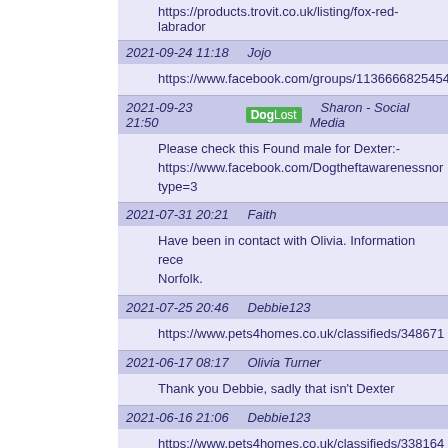https://products.trovit.co.uk/listing/fox-red-labrador
2021-09-24 11:18   Jojo
https://www.facebook.com/groups/11366668254546
2021-09-23 21:50   DogLost   Sharon - Social Media
Please check this Found male for Dexter:-
https://www.facebook.com/Dogtheftawarenessnor
type=3
2021-07-31 20:21   Faith
Have been in contact with Olivia. Information rece
Norfolk.
2021-07-25 20:46   Debbie123
https://www.pets4homes.co.uk/classifieds/348671
2021-06-17 08:17   Olivia Turner
Thank you Debbie, sadly that isn't Dexter
2021-06-16 21:06   Debbie123
https://www.pets4homes.co.uk/classifieds/338164
2021-06-09 23:53   Olivia Turner
Hi, thank you. Unfortunately we've ruled this one o
2021-06-09 23:52   Cockers2
Hi please look at Facebook City dogshomes Bucks